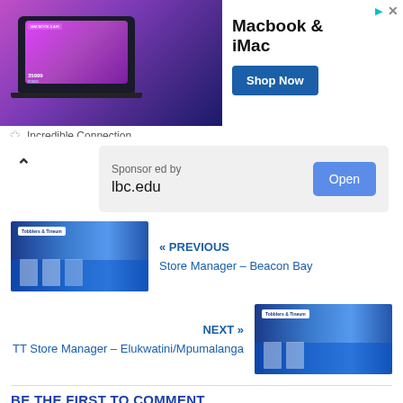[Figure (screenshot): Advertisement banner for Macbook & iMac by Incredible Connection. Shows a MacBook image on purple gradient background on the left, bold text 'Macbook & iMac' in center, and a 'Shop Now' button on the right. Icons in top right corner. Footer shows star icon and 'Incredible Connection'.]
[Figure (screenshot): Sponsored content box with chevron-up icon on left. Shows 'Sponsored by' label above 'lbc.edu' text, and a blue 'Open' button on the right.]
« PREVIOUS
Store Manager – Beacon Bay
NEXT »
TT Store Manager – Elukwatini/Mpumalanga
BE THE FIRST TO COMMENT
SEARCH ...